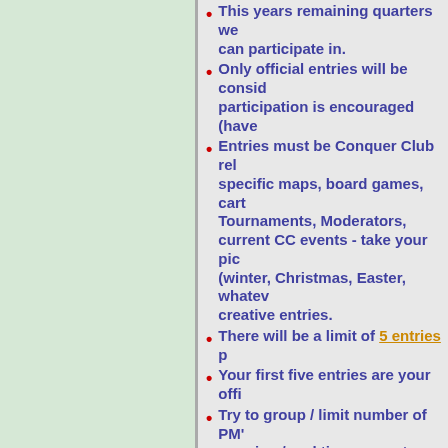This years remaining quarters we can participate in.
Only official entries will be considered, participation is encouraged (have
Entries must be Conquer Club related - specific maps, board games, cart Tournaments, Moderators, current CC events - take your pick (winter, Christmas, Easter, whatev creative entries.
There will be a limit of 5 entries p
Your first five entries are your offi
Try to group / limit number of PM' ongoing / real time current event entries, separate submissions are
Note: Its POSSIBLE (not confirmed year" type contest and award add participation through the year.
Official Entry Requirements
You must PM IcePack your meme
Only entries received within the c that quarter.